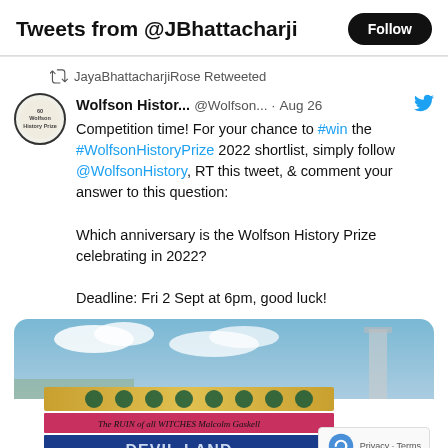Tweets from @JBhattacharji
JayaBhattacharjiRose Retweeted
Wolfson Histor... @Wolfson... · Aug 26
Competition time! For your chance to #win the #WolfsonHistoryPrize 2022 shortlist, simply follow @WolfsonHistory, RT this tweet, & comment your answer to this question:

Which anniversary is the Wolfson History Prize celebrating in 2022?

Deadline: Fri 2 Sept at 6pm, good luck!
[Figure (photo): Photo of three books stacked on top of each other: a gold-spined Wolfson History Prize book on top, The Ruin of all Witches by Malcolm Gaskill (pink spine) in the middle, and Devil-Land (dark blue spine) at the bottom, in front of an outdoor background with sky and a building.]